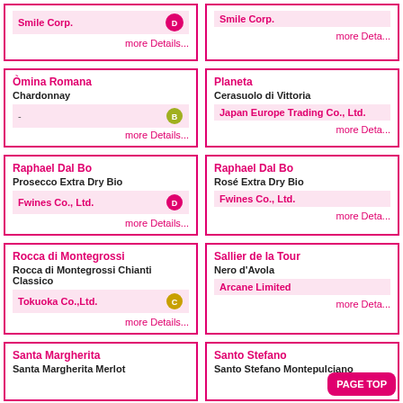Smile Corp. [D badge] more Details...
Smile Corp. more Deta...
Òmina Romana / Chardonnay / - [B badge] / more Details...
Planeta / Cerasuolo di Vittoria / Japan Europe Trading Co., Ltd. / more Deta...
Raphael Dal Bo / Prosecco Extra Dry Bio / Fwines Co., Ltd. [D badge] / more Details...
Raphael Dal Bo / Rosé Extra Dry Bio / Fwines Co., Ltd. / more Deta...
Rocca di Montegrossi / Rocca di Montegrossi Chianti Classico / Tokuoka Co.,Ltd. [C badge] / more Details...
Sallier de la Tour / Nero d'Avola / Arcane Limited / more Deta...
Santa Margherita / Santa Margherita Merlot
Santo Stefano / Santo Stefano Montepulciano
PAGE TOP